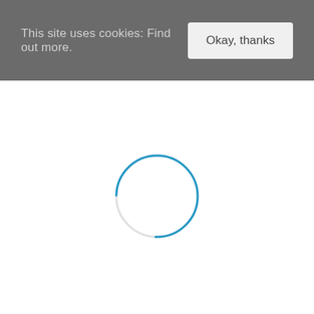This site uses cookies: Find out more.
Okay, thanks
[Figure (other): Loading spinner: a circle with a blue arc on the left and bottom portion, fading to a light gray arc on the right and top, indicating a loading/spinner animation in progress.]